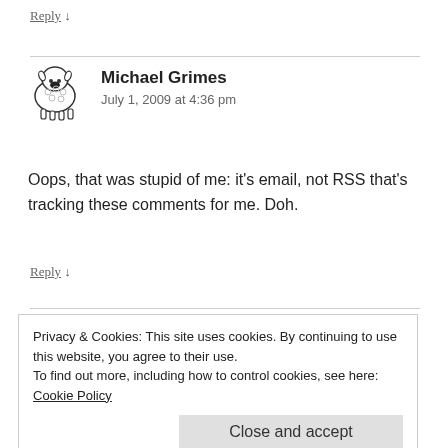Reply ↓
Michael Grimes
July 1, 2009 at 4:36 pm
[Figure (illustration): Black and white cartoon sheep avatar icon]
Oops, that was stupid of me: it's email, not RSS that's tracking these comments for me. Doh.
Reply ↓
Privacy & Cookies: This site uses cookies. By continuing to use this website, you agree to their use.
To find out more, including how to control cookies, see here: Cookie Policy
Close and accept